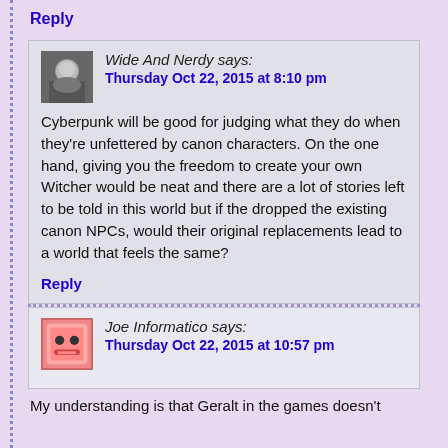Reply
Wide And Nerdy says: Thursday Oct 22, 2015 at 8:10 pm
Cyberpunk will be good for judging what they do when they’re unfettered by canon characters. On the one hand, giving you the freedom to create your own Witcher would be neat and there are a lot of stories left to be told in this world but if the dropped the existing canon NPCs, would their original replacements lead to a world that feels the same?
Reply
Joe Informatico says: Thursday Oct 22, 2015 at 10:57 pm
My understanding is that Geralt in the games doesn't